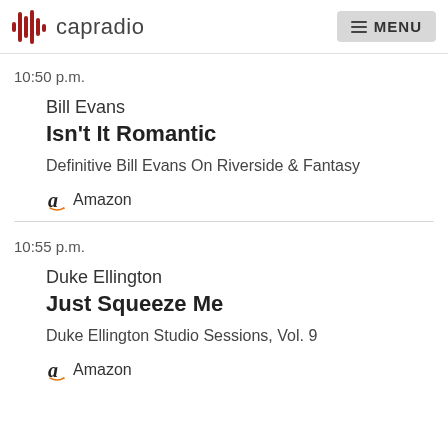capradio  MENU
10:50 p.m.
Bill Evans
Isn't It Romantic
Definitive Bill Evans On Riverside & Fantasy
Amazon
10:55 p.m.
Duke Ellington
Just Squeeze Me
Duke Ellington Studio Sessions, Vol. 9
Amazon